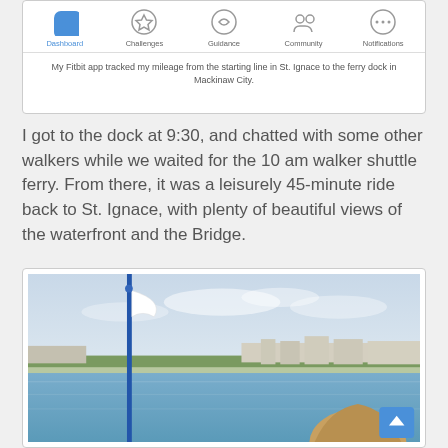[Figure (screenshot): Fitbit app navigation bar showing Dashboard (active), Challenges, Guidance, Community, Notifications tabs]
My Fitbit app tracked my mileage from the starting line in St. Ignace to the ferry dock in Mackinaw City.
I got to the dock at 9:30, and chatted with some other walkers while we waited for the 10 am walker shuttle ferry. From there, it was a leisurely 45-minute ride back to St. Ignace, with plenty of beautiful views of the waterfront and the Bridge.
[Figure (photo): View from a ferry boat showing a white flag on a blue pole in the foreground, calm blue water, distant shoreline with buildings and trees, and a person with long hair in the lower right corner. A blue scroll-to-top button is visible in the bottom right.]